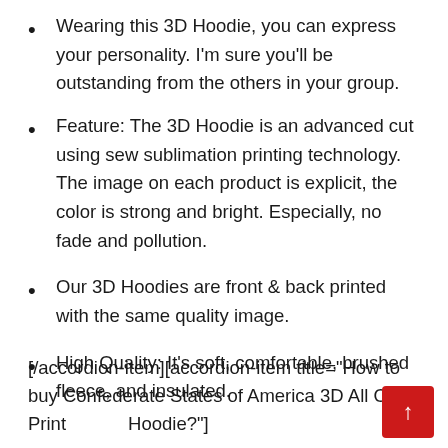Wearing this 3D Hoodie, you can express your personality. I'm sure you'll be outstanding from the others in your group.
Feature: The 3D Hoodie is an advanced cut using sew sublimation printing technology. The image on each product is explicit, the color is strong and bright. Especially, no fade and pollution.
Our 3D Hoodies are front & back printed with the same quality image.
High Quality: It's soft, comfortable, brushed fleece, and insulated.
[/accordion-item][accordion-item title="How to buy Confederate States of America 3D All Over Printed Hoodie?"]